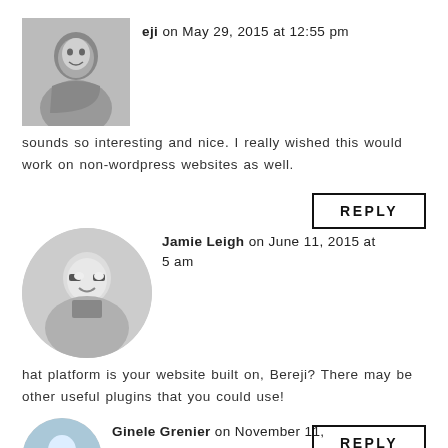[Figure (photo): Black and white photo of a woman smiling, rectangular avatar]
eji on May 29, 2015 at 12:55 pm
sounds so interesting and nice. I really wished this would work on non-wordpress websites as well.
REPLY
[Figure (photo): Circular photo of a woman with glasses and blonde hair smiling]
Jamie Leigh on June 11, 2015 at 5 am
hat platform is your website built on, Bereji? There may be other useful plugins that you could use!
REPLY
[Figure (photo): Circular photo of Ginele Grenier, partially visible at bottom]
Ginele Grenier on November 11,